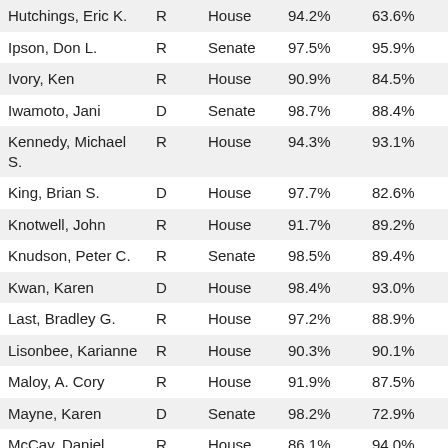| Name | Party | Chamber | Score1 | Score2 |
| --- | --- | --- | --- | --- |
| Hutchings, Eric K. | R | House | 94.2% | 63.6% |
| Ipson, Don L. | R | Senate | 97.5% | 95.9% |
| Ivory, Ken | R | House | 90.9% | 84.5% |
| Iwamoto, Jani | D | Senate | 98.7% | 88.4% |
| Kennedy, Michael S. | R | House | 94.3% | 93.1% |
| King, Brian S. | D | House | 97.7% | 82.6% |
| Knotwell, John | R | House | 91.7% | 89.2% |
| Knudson, Peter C. | R | Senate | 98.5% | 89.4% |
| Kwan, Karen | D | House | 98.4% | 93.0% |
| Last, Bradley G. | R | House | 97.2% | 88.9% |
| Lisonbee, Karianne | R | House | 90.3% | 90.1% |
| Maloy, A. Cory | R | House | 91.9% | 87.5% |
| Mayne, Karen | D | Senate | 98.2% | 72.9% |
| McCay, Daniel | R | House | 86.1% | 94.0% |
| McKell, Mike K. | R | House | 92.8% | 80.9% |
| Miles, Kelly B. | R | House | 96.0% | 71.2% |
| Miller, Aaron | R | Senate | 88.8% | 81.7% |